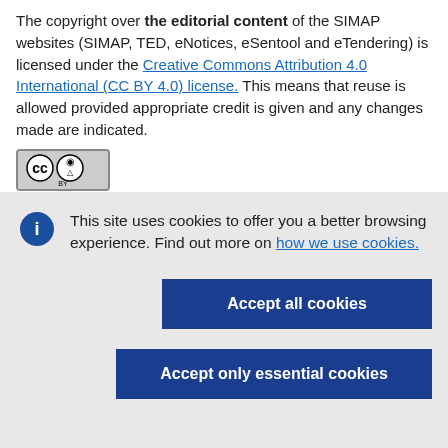The copyright over the editorial content of the SIMAP websites (SIMAP, TED, eNotices, eSentool and eTendering) is licensed under the Creative Commons Attribution 4.0 International (CC BY 4.0) license. This means that reuse is allowed provided appropriate credit is given and any changes made are indicated.
[Figure (logo): Creative Commons CC BY license badge]
You may be required to clear additional rights if specific content
This site uses cookies to offer you a better browsing experience. Find out more on how we use cookies.
[Figure (other): Accept all cookies button]
[Figure (other): Accept only essential cookies button]